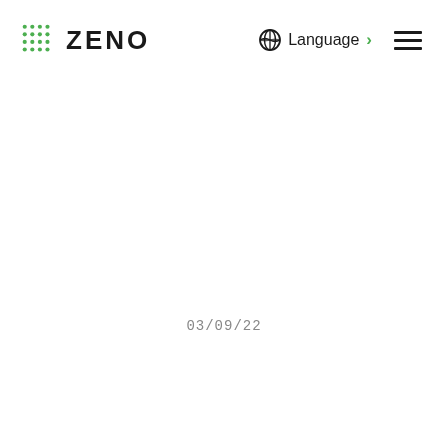ZENO  Language  [hamburger menu]
03/09/22